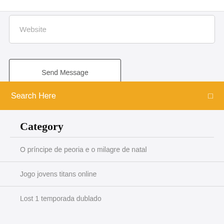Website
Send Message
Search Here
Category
O príncipe de peoria e o milagre de natal
Jogo jovens titans online
Lost 1 temporada dublado